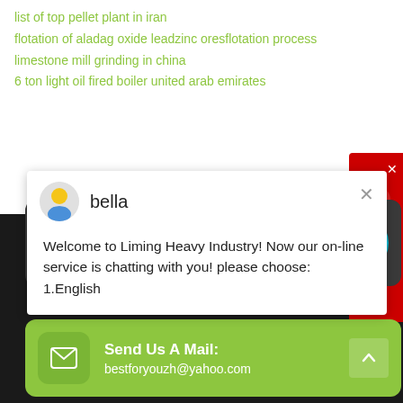list of top pellet plant in iran
flotation of aladag oxide leadzinc oresflotation process
limestone mill grinding in china
6 ton light oil fired boiler united arab emirates
[Figure (screenshot): Chat popup from Liming Heavy Industry with agent named bella. Message: Welcome to Liming Heavy Industry! Now our on-line service is chatting with you! please choose: 1.English]
Give Us A Call:
+86 86162511
Send Us A Mail:
bestforyouzh@yahoo.com